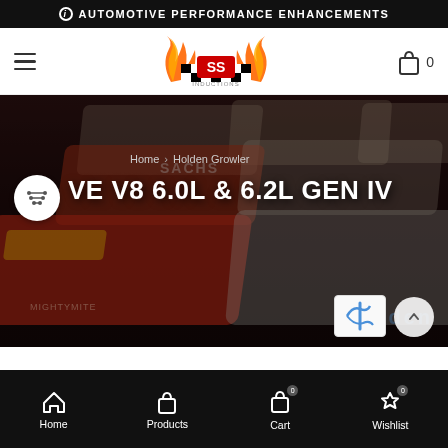AUTOMOTIVE PERFORMANCE ENHANCEMENTS
[Figure (logo): SS Inductions logo with flames and checkered flag]
0
[Figure (photo): Race cars on track, dark overlay with Holden and Shell branded V8 Supercars]
Home › Holden Growler
VE V8 6.0L & 6.2L GEN IV
Home  Products  Cart  Wishlist